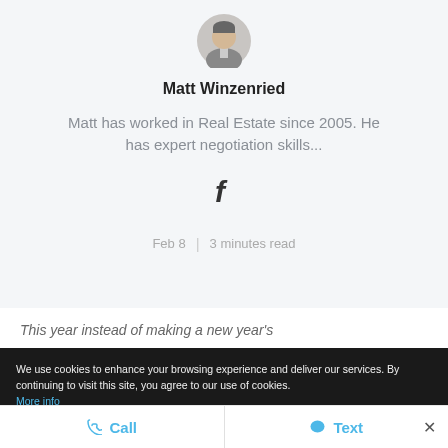[Figure (photo): Circular avatar photo of Matt Winzenried, showing a person in a grey suit jacket]
Matt Winzenried
Matt has worked in Real Estate since 2005. He has expert negotiation skills...
[Figure (logo): Facebook 'f' icon in dark color]
Feb 8  |  3 minutes read
This year instead of making a new year's
We use cookies to enhance your browsing experience and deliver our services. By continuing to visit this site, you agree to our use of cookies. More info
Call
Text